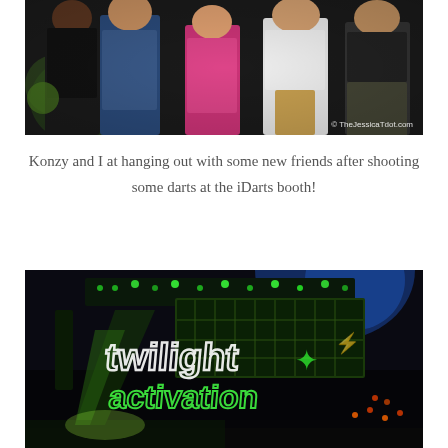[Figure (photo): Group photo of several people posing together at an event, with green and white lighting in the background. Watermark reads © TheJessicaTdot.com]
Konzy and I at hanging out with some new friends after shooting some darts at the iDarts booth!
[Figure (photo): Concert/event stage photo showing neon green 'twilight activation' signage with colorful stage lights including blue and green spotlights against a dark background.]